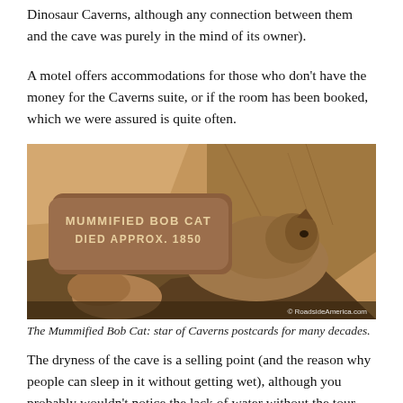Dinosaur Caverns, although any connection between them and the cave was purely in the mind of its owner).
A motel offers accommodations for those who don't have the money for the Caverns suite, or if the room has been booked, which we were assured is quite often.
[Figure (photo): Photo of a mummified bobcat displayed in a cave with a sign reading 'MUMMIFIED BOB CAT DIED APPROX. 1850'. Watermark: © RoadsideAmerica.com]
The Mummified Bob Cat: star of Caverns postcards for many decades.
The dryness of the cave is a selling point (and the reason why people can sleep in it without getting wet), although you probably wouldn't notice the lack of water without the tour guide pointing it out. We were told that only three percent of all caves are dry, and